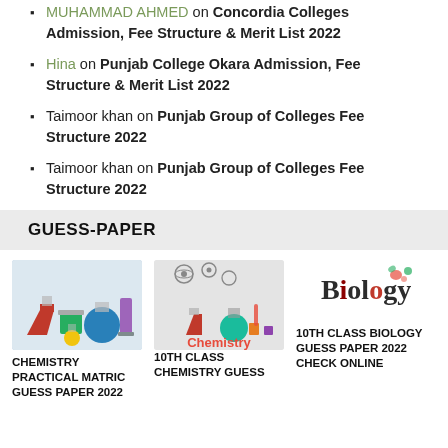MUHAMMAD AHMED on Concordia Colleges Admission, Fee Structure & Merit List 2022
Hina on Punjab College Okara Admission, Fee Structure & Merit List 2022
Taimoor khan on Punjab Group of Colleges Fee Structure 2022
Taimoor khan on Punjab Group of Colleges Fee Structure 2022
GUESS-PAPER
[Figure (photo): Chemistry practical lab glassware with colorful liquids]
CHEMISTRY PRACTICAL MATRIC GUESS PAPER 2022
[Figure (illustration): Chemistry themed illustration with lab equipment and the word Chemistry in red]
10TH CLASS CHEMISTRY GUESS
[Figure (logo): Biology word art logo with decorative elements]
10TH CLASS BIOLOGY GUESS PAPER 2022 CHECK ONLINE